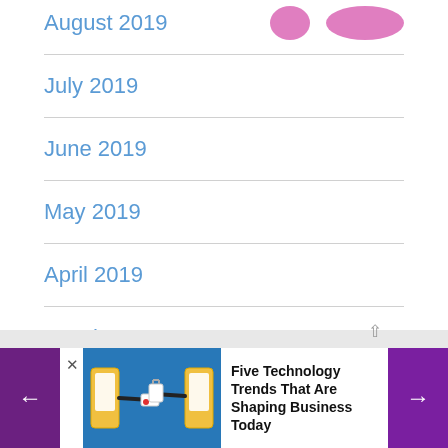August 2019
July 2019
June 2019
May 2019
April 2019
March 2019
February 2019
[Figure (illustration): Advertisement image showing hands exchanging items through phone screens on blue background]
Five Technology Trends That Are Shaping Business Today